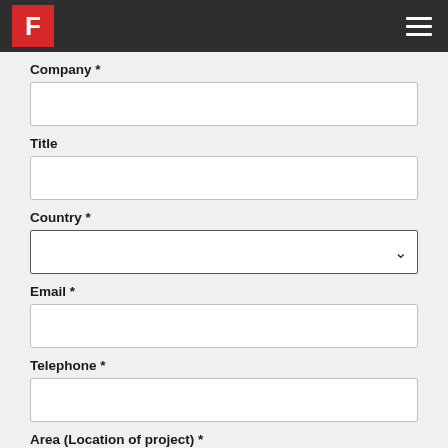F
Company *
Title
Country *
Email *
Telephone *
Area (Location of project) *